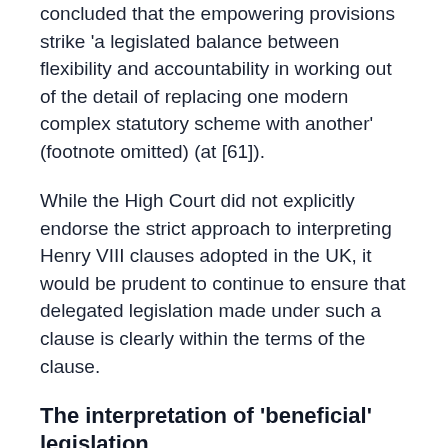concluded that the empowering provisions strike 'a legislated balance between flexibility and accountability in working out of the detail of replacing one modern complex statutory scheme with another' (footnote omitted) (at [61]).
While the High Court did not explicitly endorse the strict approach to interpreting Henry VIII clauses adopted in the UK, it would be prudent to continue to ensure that delegated legislation made under such a clause is clearly within the terms of the clause.
The interpretation of 'beneficial' legislation
The High Court also made comments relevant to the oft-invoked argument that remedial or beneficial legislation should be interpreted liberally...